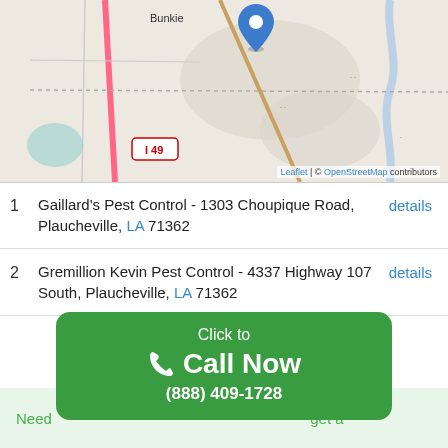[Figure (map): OpenStreetMap leaflet map showing the area near Bunkie and Plaucheville, Louisiana with Interstate 49 visible on the left side and a blue location pin marker near the top center of the map.]
1  Gaillard's Pest Control - 1303 Choupique Road, Plaucheville, LA 71362   details
2  Gremillion Kevin Pest Control - 4337 Highway 107 South, Plaucheville, LA 71362   details
[Figure (infographic): Green rounded-rectangle call-to-action button reading 'Click to Call Now (888) 409-1728' with a phone handset icon]
Need ... get a